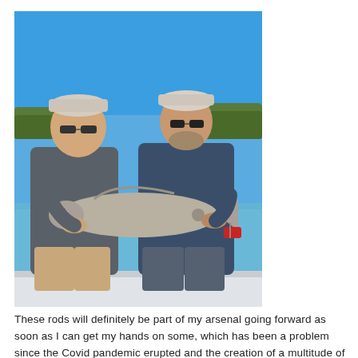[Figure (photo): Two men standing on a boat holding a large redfish. Both wear caps and sunglasses. The man on the left wears a gray hoodie and tan pants; the man on the right wears a blue hoodie. Clear blue sky and water in the background.]
These rods will definitely be part of my arsenal going forward as soon as I can get my hands on some, which has been a problem since the Covid pandemic erupted and the creation of a multitude of supply-chain problems.